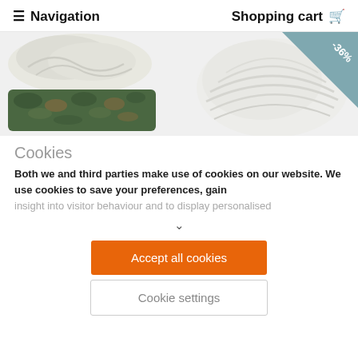≡ Navigation   Shopping cart 🛒
[Figure (photo): Two product images side by side: left shows a camouflage-patterned hat/headwear with white top, right shows a white ribbed hair bun/wig. A teal triangle discount badge in the top-right corner shows -36%.]
Cookies
Both we and third parties make use of cookies on our website. We use cookies to save your preferences, gain insight into visitor behaviour and to display personalised
Accept all cookies
Cookie settings